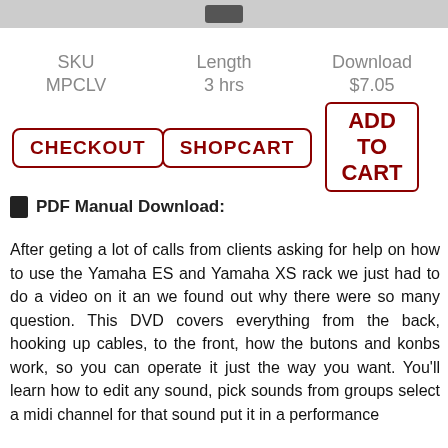| SKU | Length | Download |
| --- | --- | --- |
| MPCLV | 3 hrs | $7.05 |
CHECKOUT | SHOPCART | ADD TO CART
PDF Manual Download:
After geting a lot of calls from clients asking for help on how to use the Yamaha ES and Yamaha XS rack we just had to do a video on it an we found out why there were so many question. This DVD covers everything from the back, hooking up cables, to the front, how the butons and konbs work, so you can operate it just the way you want. You'll learn how to edit any sound, pick sounds from groups select a midi channel for that sound put it in a performance